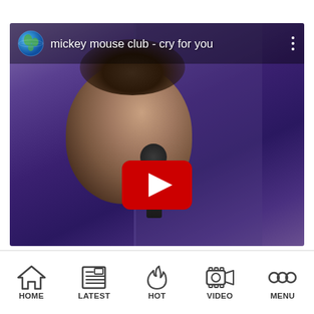[Figure (screenshot): YouTube-style video thumbnail showing a person singing into a microphone against a purple background. The video title bar reads 'mickey mouse club - cry for you' with a globe icon on the left and a three-dot menu on the right. A red YouTube play button is overlaid in the lower center of the video.]
[Figure (infographic): Mobile app bottom navigation bar with five items: HOME (house icon), LATEST (newspaper icon), HOT (flame icon), VIDEO (film camera icon), MENU (three circles icon). All labels in bold uppercase black text.]